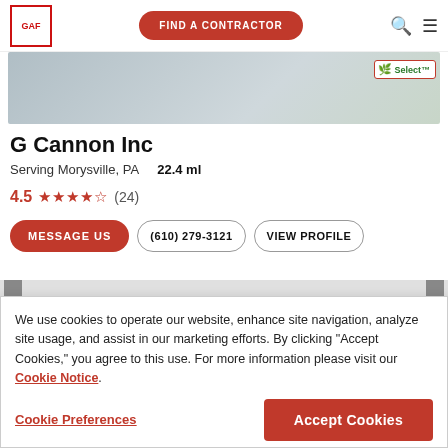GAF | FIND A CONTRACTOR
[Figure (photo): Roofing product banner image with Select™ badge]
G Cannon Inc
Serving Morysville, PA   22.4 ml
4.5 ★★★★½ (24)
MESSAGE US | (610) 279-3121 | VIEW PROFILE
We use cookies to operate our website, enhance site navigation, analyze site usage, and assist in our marketing efforts. By clicking "Accept Cookies," you agree to this use. For more information please visit our Cookie Notice.
Cookie Preferences | Accept Cookies